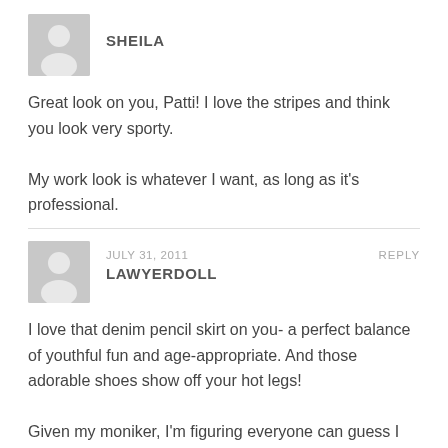[Figure (illustration): Generic user avatar silhouette in grey square, for user SHEILA]
SHEILA
Great look on you, Patti! I love the stripes and think you look very sporty.

My work look is whatever I want, as long as it's professional.
[Figure (illustration): Generic user avatar silhouette in grey square, for user LAWYERDOLL]
JULY 31, 2011
REPLY
LAWYERDOLL
I love that denim pencil skirt on you- a perfect balance of youthful fun and age-appropriate. And those adorable shoes show off your hot legs!

Given my moniker, I'm figuring everyone can guess I don't